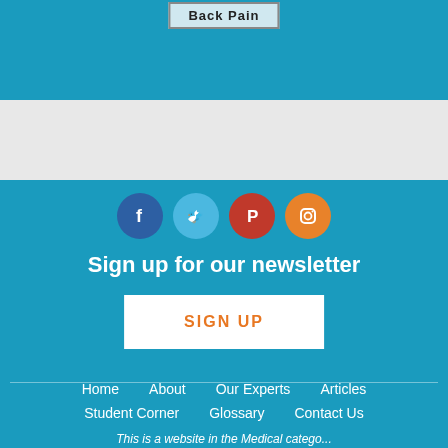[Figure (screenshot): Blue header section with 'Back Pain' button]
[Figure (infographic): Four social media icons: Facebook (blue), Twitter (light blue), Pinterest (red), Instagram (orange)]
Sign up for our newsletter
SIGN UP
Home   About   Our Experts   Articles
Student Corner   Glossary   Contact Us
This is a website in the Medical category